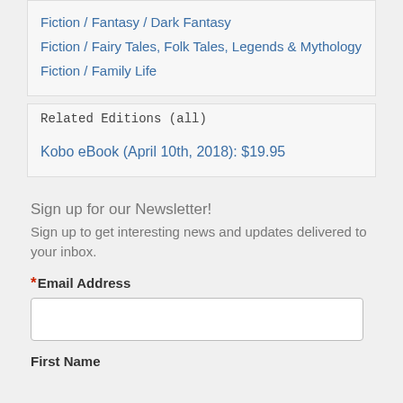Fiction / Fantasy / Dark Fantasy
Fiction / Fairy Tales, Folk Tales, Legends & Mythology
Fiction / Family Life
Related Editions (all)
Kobo eBook (April 10th, 2018): $19.95
Sign up for our Newsletter! Sign up to get interesting news and updates delivered to your inbox.
* Email Address
First Name